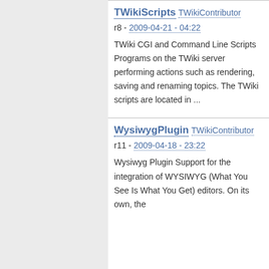TWikiScripts
TWikiContributor
r8 - 2009-04-21 - 04:22
TWiki CGI and Command Line Scripts Programs on the TWiki server performing actions such as rendering, saving and renaming topics. The TWiki scripts are located in ...
WysiwygPlugin
TWikiContributor
r11 - 2009-04-18 - 23:22
Wysiwyg Plugin Support for the integration of WYSIWYG (What You See Is What You Get) editors. On its own, the